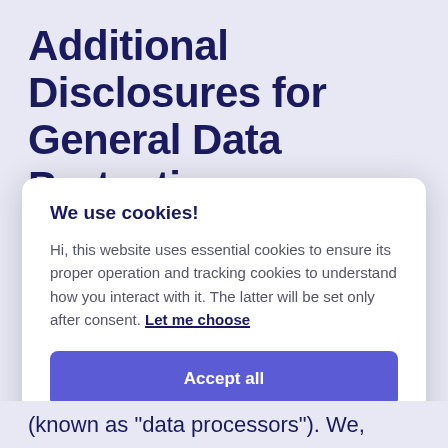Additional Disclosures for General Data Protection Regulation (GDPR) Compliance (EU)
We use cookies!
Hi, this website uses essential cookies to ensure its proper operation and tracking cookies to understand how you interact with it. The latter will be set only after consent. Let me choose
Accept all
Reject all
(known as “data processors”). We,